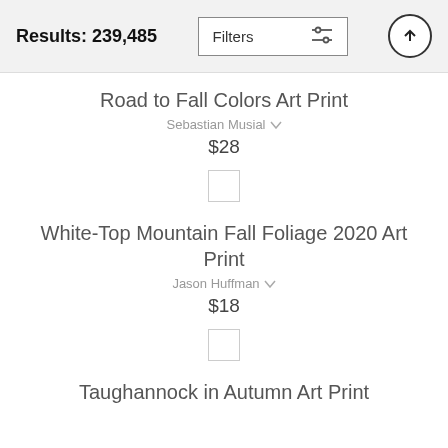Results: 239,485
Road to Fall Colors Art Print
Sebastian Musial
$28
[Figure (other): Placeholder image thumbnail (empty square outline)]
White-Top Mountain Fall Foliage 2020 Art Print
Jason Huffman
$18
[Figure (other): Placeholder image thumbnail (empty square outline)]
Taughannock in Autumn Art Print